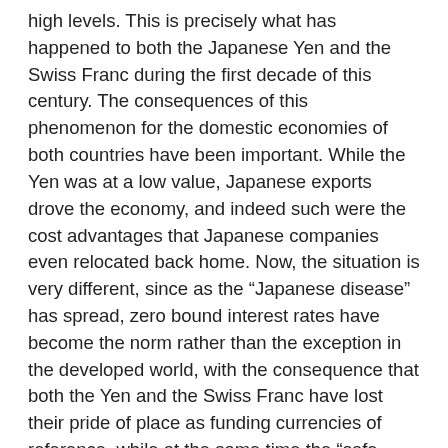high levels. This is precisely what has happened to both the Japanese Yen and the Swiss Franc during the first decade of this century. The consequences of this phenomenon for the domestic economies of both countries have been important. While the Yen was at a low value, Japanese exports drove the economy, and indeed such were the cost advantages that Japanese companies even relocated back home. Now, the situation is very different, since as the “Japanese disease” has spread, zero bound interest rates have become the norm rather than the exception in the developed world, with the consequence that both the Yen and the Swiss Franc have lost their pride of place as funding currencies of reference, while at the same time the “safe haven” status of the respective currencies in times of financial turbulence such as that associated with the current European Debt Crisis means that the currency is driven up rather than down.
In fact, the ideal carry trade needs to be symmetric (to optimise earnings), in the sense that as the destination currency gets driven up, the funding one should ideally be forced down. This means that the Euro is a much more desirable funding currency in the current environment than